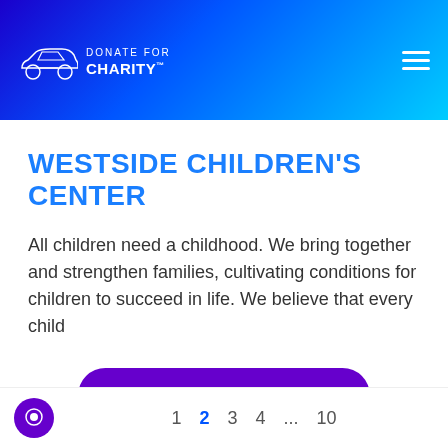[Figure (logo): Donate for Charity logo with car outline and text in white on blue-to-cyan gradient header]
WESTSIDE CHILDREN'S CENTER
All children need a childhood. We bring together and strengthen families, cultivating conditions for children to succeed in life. We believe that every child
[Figure (other): Purple rounded Donate button with arrow]
1  2  3  4  ...  10